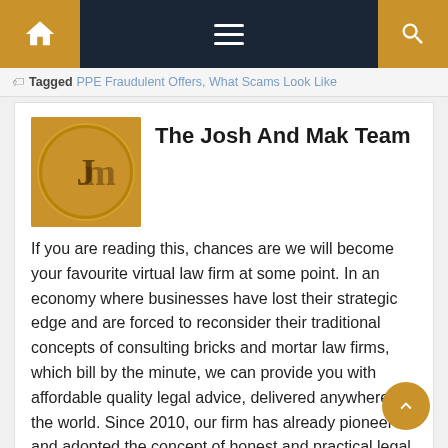Navigation bar with home, menu, and search icons
Tagged PPE Fraudulent Offers, What Scams Look Like
The Josh And Mak Team
If you are reading this, chances are we will become your favourite virtual law firm at some point. In an economy where businesses have lost their strategic edge and are forced to reconsider their traditional concepts of consulting bricks and mortar law firms, which bill by the minute, we can provide you with affordable quality legal advice, delivered anywhere in the world. Since 2010, our firm has already pioneered and adopted the concept of honest and practical legal advice, delivered straight to your email inbox. In the post Covid19 era,